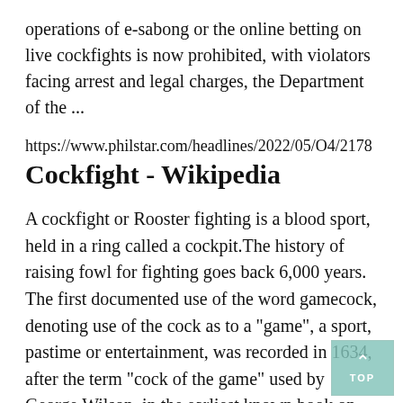operations of e-sabong or the online betting on live cockfights is now prohibited, with violators facing arrest and legal charges, the Department of the ...
https://www.philstar.com/headlines/2022/05/04/2178
Cockfight - Wikipedia
A cockfight or Rooster fighting is a blood sport, held in a ring called a cockpit.The history of raising fowl for fighting goes back 6,000 years. The first documented use of the word gamecock, denoting use of the cock as to a "game", a sport, pastime or entertainment, was recorded in 1634, after the term "cock of the game" used by George Wilson, in the earliest known book on the ...